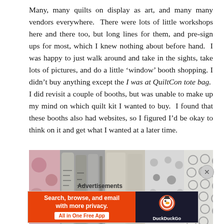Many, many quilts on display as art, and many many vendors everywhere. There were lots of little workshops here and there too, but long lines for them, and pre-sign ups for most, which I knew nothing about before hand. I was happy to just walk around and take in the sights, take lots of pictures, and do a little 'window' booth shopping. I didn't buy anything except the I was at QuiltCon tote bag. I did revisit a couple of booths, but was unable to make up my mind on which quilt kit I wanted to buy. I found that these booths also had websites, so I figured I'd be okay to think on it and get what I wanted at a later time.
[Figure (photo): A close-up photo of various fabric rolls or quilts in muted, monochromatic tones of grey, black, white and brown showing different patterns including circles and polka dots.]
Advertisements
[Figure (screenshot): DuckDuckGo advertisement banner with orange background on the left reading 'Search, browse, and email with more privacy. All in One Free App' and dark background on the right with DuckDuckGo duck logo and DuckDuckGo text.]